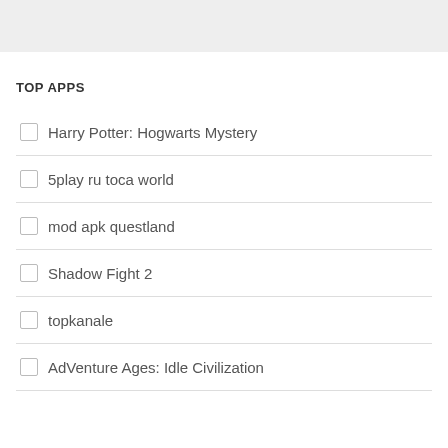TOP APPS
Harry Potter: Hogwarts Mystery
5play ru toca world
mod apk questland
Shadow Fight 2
topkanale
AdVenture Ages: Idle Civilization